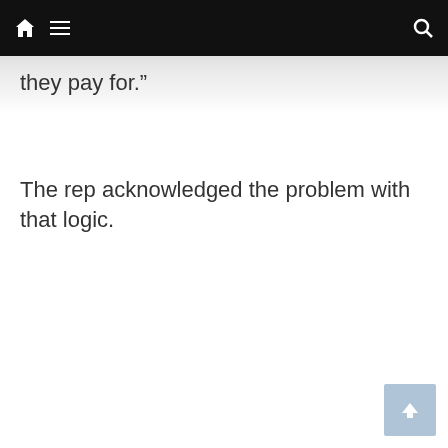Navigation bar with home, menu, and search icons
they pay for.”
The rep acknowledged the problem with that logic.